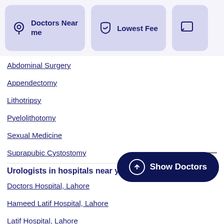[Figure (screenshot): Navigation filter buttons: 'Doctors Near me' with location pin icon, 'Lowest Fee' with shield icon, and a third partially visible button with chat icon]
Abdominal Surgery
Appendectomy
Lithotripsy
Pyelolithotomy
Sexual Medicine
Suprapubic Cystostomy
Urologists in hospitals near you
Doctors Hospital, Lahore
Hameed Latif Hospital, Lahore
Latif Hospital, Lahore